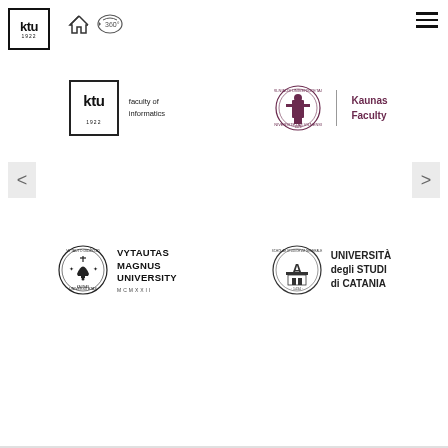[Figure (logo): KTU (Kaunas University of Technology) logo - square border with ktu text and 1922 year]
[Figure (logo): Home icon navigation]
[Figure (logo): 360 degree view icon]
[Figure (logo): Hamburger menu icon]
[Figure (logo): KTU Faculty of Informatics logo]
[Figure (logo): Vilnius University Kaunas Faculty logo with maroon crest]
[Figure (logo): Left navigation arrow button]
[Figure (logo): Right navigation arrow button]
[Figure (logo): Vytautas Magnus University logo with circular emblem]
[Figure (logo): Universita degli Studi di Catania logo with circular emblem]